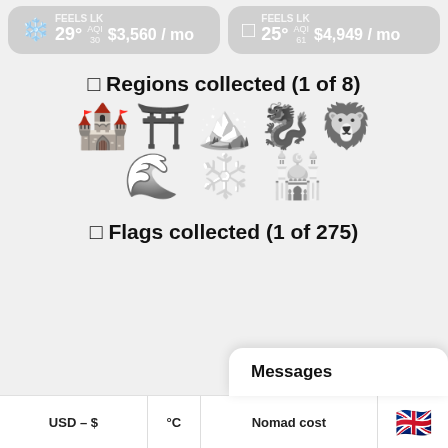❄️ 29° AQI 30 $3,560 / mo | □ 25° AQI 61 $4,949 / mo
□ Regions collected (1 of 8)
[Figure (illustration): 8 region emoji icons arranged in two rows: castle (active/colored), torii gate (grayscale), mountain (grayscale), dragon/china (grayscale), lion (grayscale) in row 1; wave (grayscale), snowflake (grayscale), mosque/dome (grayscale) in row 2]
□ Flags collected (1 of 275)
[Figure (illustration): UK flag emoji partially visible at bottom]
Messages
USD – $  °C  Nomad cost